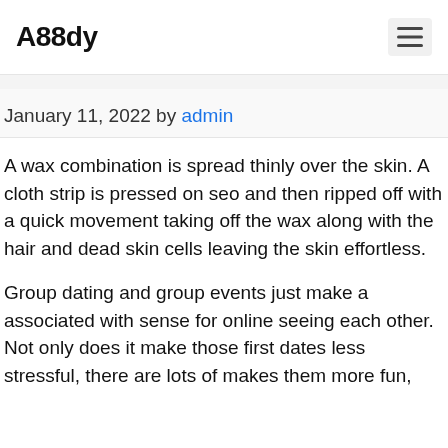A88dy
January 11, 2022 by admin
A wax combination is spread thinly over the skin. A cloth strip is pressed on seo and then ripped off with a quick movement taking off the wax along with the hair and dead skin cells leaving the skin effortless.
Group dating and group events just make a associated with sense for online seeing each other. Not only does it make those first dates less stressful, there are lots of makes them more fun, and it definitely makes first meetings a more...